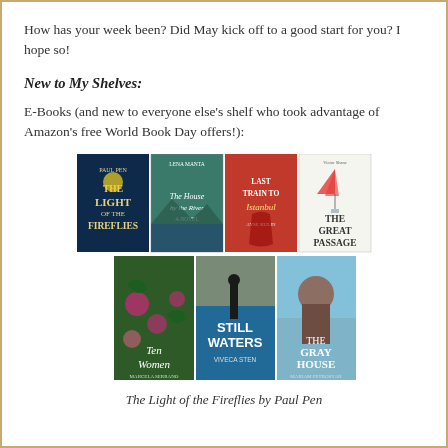How has your week been? Did May kick off to a good start for you? I hope so!
New to My Shelves:
E-Books (and new to everyone else's shelf who took advantage of Amazon's free World Book Day offers!):
[Figure (photo): Seven book covers arranged in two rows: top row has The Light of the Fireflies by Paul Pen, The House by the River by Lena Manta, Last Train to Istanbul by Ayse Kulin, The Great Passage. Bottom row has Ten Women by Marcela Serrano, Still Waters by Viveca Sten, The Gray House by Mariam Petrosyan.]
The Light of the Fireflies by Paul Pen